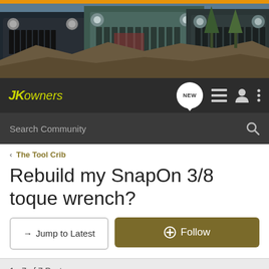[Figure (photo): Banner photo showing three Jeep Wrangler JK vehicles on rocky off-road terrain with trees and mountains in background. Orange stripe at top.]
JKOwners navigation bar with logo, NEW bubble, list icon, user icon, and more options icon
Search Community
< The Tool Crib
Rebuild my SnapOn 3/8 toque wrench?
→ Jump to Latest
+ Follow
1 - 7 of 7 Posts